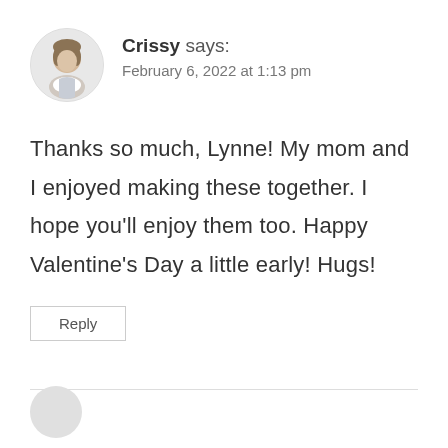[Figure (photo): Circular avatar photo of a woman named Crissy]
Crissy says:
February 6, 2022 at 1:13 pm
Thanks so much, Lynne! My mom and I enjoyed making these together. I hope you'll enjoy them too. Happy Valentine's Day a little early! Hugs!
Reply